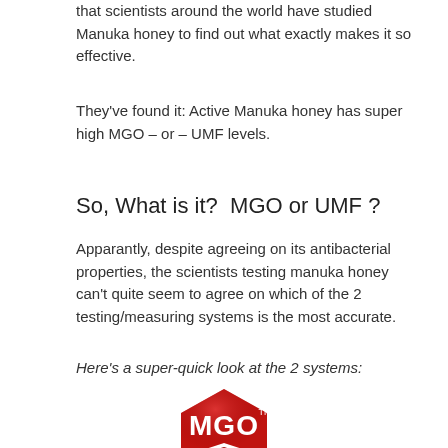that scientists around the world have studied Manuka honey to find out what exactly makes it so effective.
They've found it: Active Manuka honey has super high MGO – or – UMF levels.
So, What is it?  MGO or UMF ?
Apparantly, despite agreeing on its antibacterial properties, the scientists testing manuka honey can't quite seem to agree on which of the 2 testing/measuring systems is the most accurate.
Here's a super-quick look at the 2 systems:
[Figure (logo): MGO logo — red hexagonal badge with white bold text reading MGO with a TM superscript]